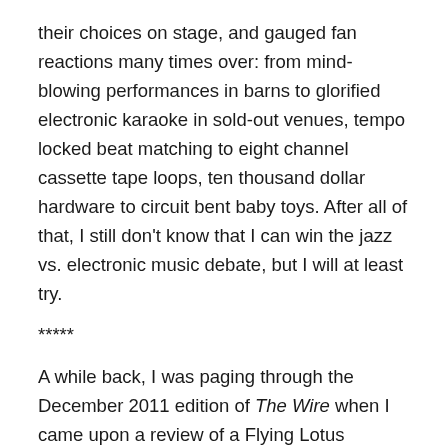their choices on stage, and gauged fan reactions many times over: from mind-blowing performances in barns to glorified electronic karaoke in sold-out venues, tempo locked beat matching to eight channel cassette tape loops, ten thousand dollar hardware to circuit bent baby toys. After all of that, I still don't know that I can win the jazz vs. electronic music debate, but I will at least try.
*****
A while back, I was paging through the December 2011 edition of The Wire when I came upon a review of a Flying Lotus performance, the conclusion of which stood out:
On record, the music has the unruly liquidity of dream logic wandering from astral pathways down alphabet street, returning via back alleys on its own whims. Maybe the listening is incomplete, with attention straight...